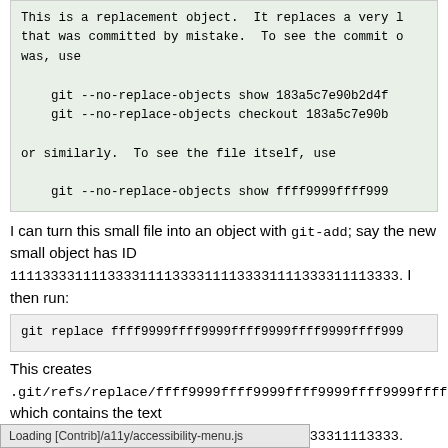This is a replacement object. It replaces a very large object that was committed by mistake. To see the commit object that was, use

    git --no-replace-objects show 183a5c7e90b2d4f
    git --no-replace-objects checkout 183a5c7e90b

or similarly. To see the file itself, use

    git --no-replace-objects show ffff9999ffff999
I can turn this small file into an object with git-add; say the new small object has ID 111133331111333311113333111133331111333311113333. I then run:
git replace ffff9999ffff9999ffff9999ffff9999ffff999
This creates .git/refs/replace/ffff9999ffff9999ffff9999ffff9999fffff which contains the text 111133331111333311113333111133331111333311113333. thenceforward, any Git command that tries to access the original object ffff9999 will silently behave as if it were 11113333 instead. For example, git show 183a5c7e will show the diff between that commit and the previous, Loading [Contrib]/a11y/accessibility-menu.js nall file back in 2016
Loading [Contrib]/a11y/accessibility-menu.js